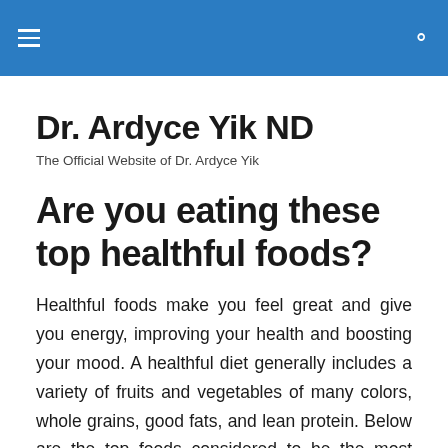Dr. Ardyce Yik ND — navigation header
Dr. Ardyce Yik ND
The Official Website of Dr. Ardyce Yik
Are you eating these top healthful foods?
Healthful foods make you feel great and give you energy, improving your health and boosting your mood. A healthful diet generally includes a variety of fruits and vegetables of many colors, whole grains, good fats, and lean protein. Below are the top foods considered to be the most healthy (in no particular order), according to sources across the